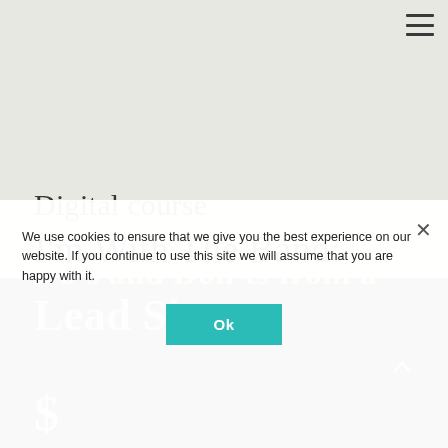[Figure (other): Hamburger menu icon (three horizontal lines) in top-right corner]
Digital course
I'm With The Band:
Do's and Don'ts from a Lead Singer
[Figure (other): Dark semi-transparent overlay at bottom of page with partial text 'Do’s and Don’ts from a Lead Singer' and up-arrow navigation button]
We use cookies to ensure that we give you the best experience on our website. If you continue to use this site we will assume that you are happy with it.
Ok